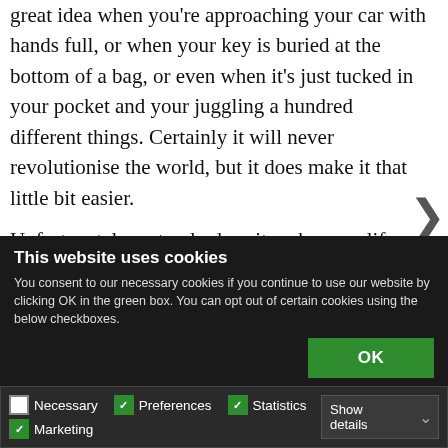great idea when you're approaching your car with hands full, or when your key is buried at the bottom of a bag, or even when it's just tucked in your pocket and your juggling a hundred different things. Certainly it will never revolutionise the world, but it does make it that little bit easier.
Unfortunately, not only does it make your life easier, but also the criminal's looking to relieve you of your car. And truth be told, it's simple for them to do so,
This website uses cookies
You consent to our necessary cookies if you continue to use our website by clicking OK in the green box. You can opt out of certain cookies using the below checkboxes.